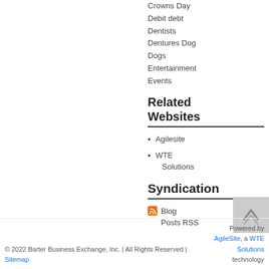Crowns Day
Debit debt
Dentists
Dentures Dog
Dogs
Entertainment
Events
Related Websites
Agilesite
WTE Solutions
Syndication
Blog Posts RSS
© 2022 Barter Business Exchange, Inc. | All Rights Reserved | Sitemap   Powered by AgileSite, a WTE Solutions technology